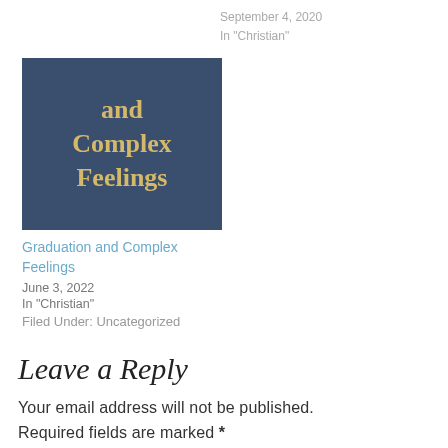September 4, 2020
In "Christian"
[Figure (illustration): Book or article cover image with dark blue background showing text 'and Complex Feelings' in gold serif font]
Graduation and Complex Feelings
June 3, 2022
In "Christian"
Filed Under: Uncategorized
Leave a Reply
Your email address will not be published. Required fields are marked *